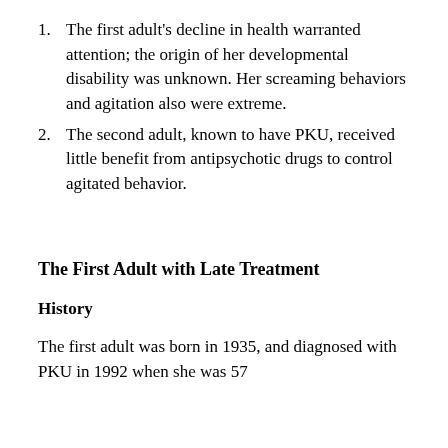The first adult's decline in health warranted attention; the origin of her developmental disability was unknown. Her screaming behaviors and agitation also were extreme.
The second adult, known to have PKU, received little benefit from antipsychotic drugs to control agitated behavior.
The First Adult with Late Treatment
History
The first adult was born in 1935, and diagnosed with PKU in 1992 when she was 57